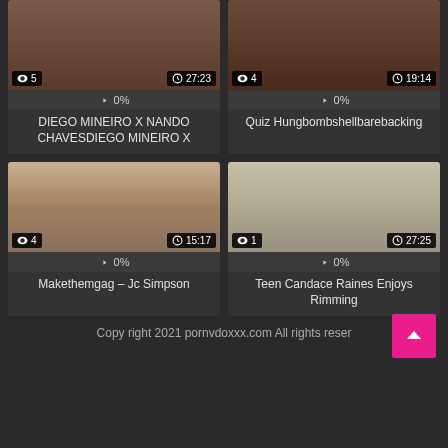[Figure (screenshot): Video thumbnail top-left with 5 views and 27:23 duration]
0%
DIEGO MINEIRO X NANDO CHAVESDIEGO MINEIRO X
[Figure (screenshot): Video thumbnail top-right with 4 views and 19:14 duration]
0%
Quiz Hungbombshellbarebacking
[Figure (screenshot): Video thumbnail bottom-left with 4 views and 15:17 duration]
0%
Makethemgag – Jc Simpson
[Figure (screenshot): Video thumbnail bottom-right with 1 view and 27:25 duration]
0%
Teen Candace Raines Enjoys Rimming
Copy right 2021 pornvdoxxx.com All rights reser